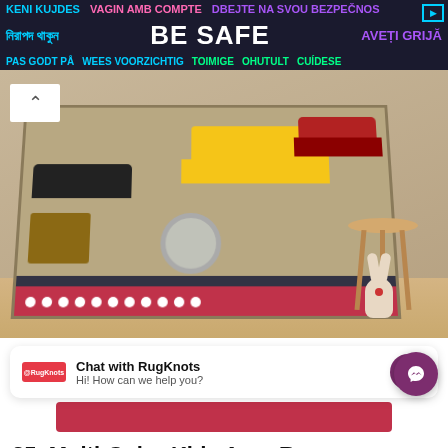[Figure (infographic): Multilingual 'Be Safe' advertisement banner with text in multiple languages on dark background]
[Figure (photo): Kids area rug with transportation/vehicle pattern (cars, buses, trucks, bicycle, helicopter) displayed on a wooden floor with a small stool and bunny toy nearby]
Chat with RugKnots
Hi! How can we help you?
25. Multi-Color Kids Area Rug